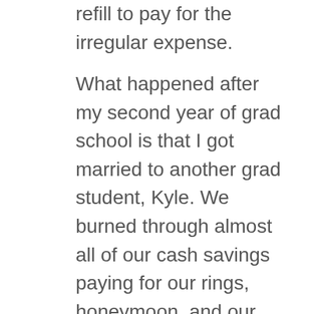refill to pay for the irregular expense.
What happened after my second year of grad school is that I got married to another grad student, Kyle. We burned through almost all of our cash savings paying for our rings, honeymoon, and our portion of the wedding expenses. When we got back from our honeymoon and started combining our finances and setting up a joint budget, we realized that we only had $1,200 remaining in cash savings, which I felt obligated to call our emergency fund. So paying for irregular